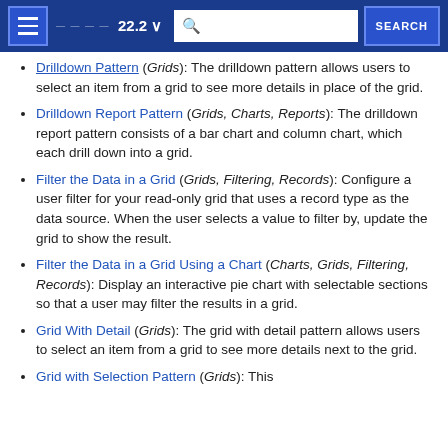22.2 navigation header with search
Drilldown Pattern (Grids): The drilldown pattern allows users to select an item from a grid to see more details in place of the grid.
Drilldown Report Pattern (Grids, Charts, Reports): The drilldown report pattern consists of a bar chart and column chart, which each drill down into a grid.
Filter the Data in a Grid (Grids, Filtering, Records): Configure a user filter for your read-only grid that uses a record type as the data source. When the user selects a value to filter by, update the grid to show the result.
Filter the Data in a Grid Using a Chart (Charts, Grids, Filtering, Records): Display an interactive pie chart with selectable sections so that a user may filter the results in a grid.
Grid With Detail (Grids): The grid with detail pattern allows users to select an item from a grid to see more details next to the grid.
Grid with Selection Pattern (Grids): This